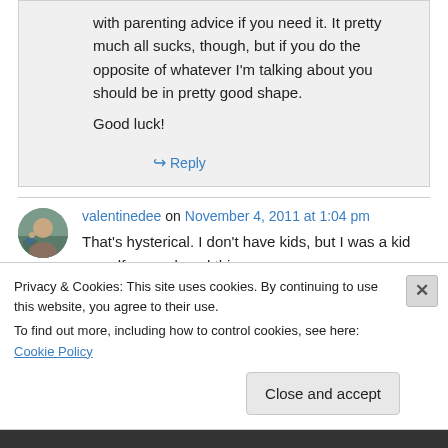with parenting advice if you need it. It pretty much all sucks, though, but if you do the opposite of whatever I'm talking about you should be in pretty good shape.
Good luck!
↪ Reply
valentinedee on November 4, 2011 at 1:04 pm
That's hysterical. I don't have kids, but I was a kid myself, once. loved this
Privacy & Cookies: This site uses cookies. By continuing to use this website, you agree to their use.
To find out more, including how to control cookies, see here: Cookie Policy
Close and accept